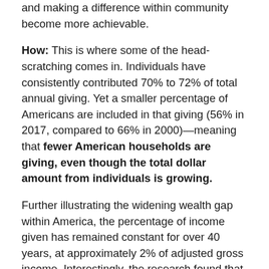and making a difference within community become more achievable.
How: This is where some of the head-scratching comes in. Individuals have consistently contributed 70% to 72% of total annual giving. Yet a smaller percentage of Americans are included in that giving (56% in 2017, compared to 66% in 2000)—meaning that fewer American households are giving, even though the total dollar amount from individuals is growing.
Further illustrating the widening wealth gap within America, the percentage of income given has remained constant for over 40 years, at approximately 2% of adjusted gross income. Interestingly, the research found that those in their prime earning years, between ages 51 and 60, gave less than in prior years.